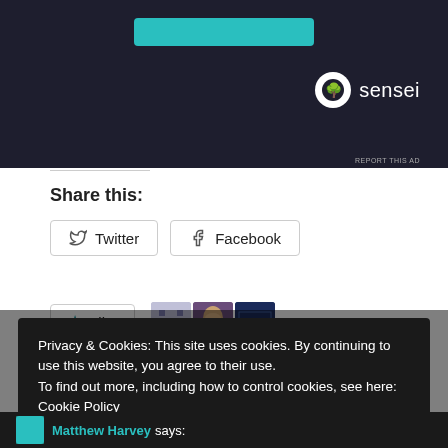[Figure (screenshot): Advertisement banner with dark background, teal button, and Sensei logo with tree icon]
REPORT THIS AD
Share this:
Twitter  Facebook
[Figure (illustration): Like button with star icon followed by three avatar thumbnails (pixel art, fantasy illustration, dark title card)]
3 bloggers like this.
Privacy & Cookies: This site uses cookies. By continuing to use this website, you agree to their use.
To find out more, including how to control cookies, see here: Cookie Policy
Close and accept
Matthew Harvey says: